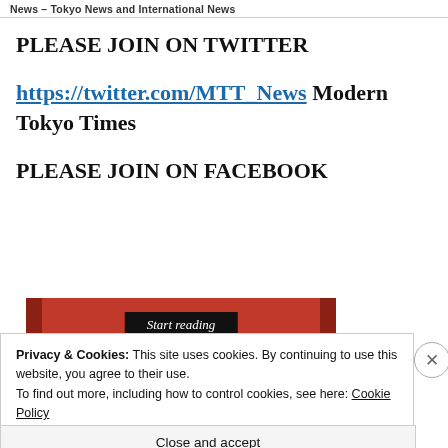News – Tokyo News and International News
PLEASE JOIN ON TWITTER
https://twitter.com/MTT_News Modern Tokyo Times
PLEASE JOIN ON FACEBOOK
[Figure (screenshot): Red banner with 'Start reading' button in black box]
Privacy & Cookies: This site uses cookies. By continuing to use this website, you agree to their use.
To find out more, including how to control cookies, see here: Cookie Policy
Close and accept